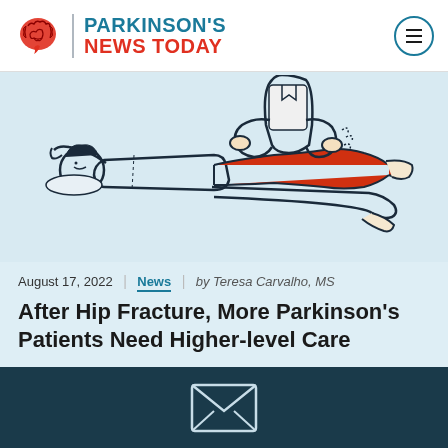PARKINSON'S NEWS TODAY
[Figure (illustration): Line art illustration of a patient lying on their back while a physical therapist lifts and stretches the patient's red-highlighted leg upward. The patient is wearing red pants.]
August 17, 2022 | News | by Teresa Carvalho, MS
After Hip Fracture, More Parkinson's Patients Need Higher-level Care
[Figure (illustration): Envelope/mail icon outline in white on dark teal background]